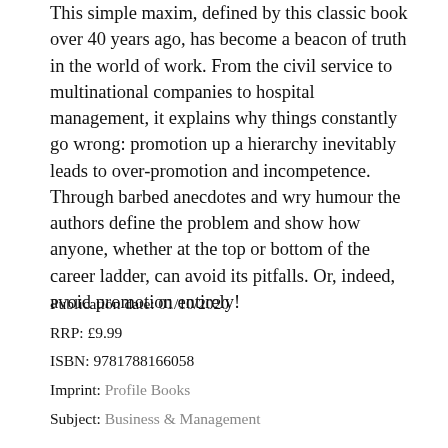This simple maxim, defined by this classic book over 40 years ago, has become a beacon of truth in the world of work. From the civil service to multinational companies to hospital management, it explains why things constantly go wrong: promotion up a hierarchy inevitably leads to over-promotion and incompetence. Through barbed anecdotes and wry humour the authors define the problem and show how anyone, whether at the top or bottom of the career ladder, can avoid its pitfalls. Or, indeed, avoid promotion entirely!
Publication date: 01/10/2020
RRP: £9.99
ISBN: 9781788166058
Imprint: Profile Books
Subject: Business & Management